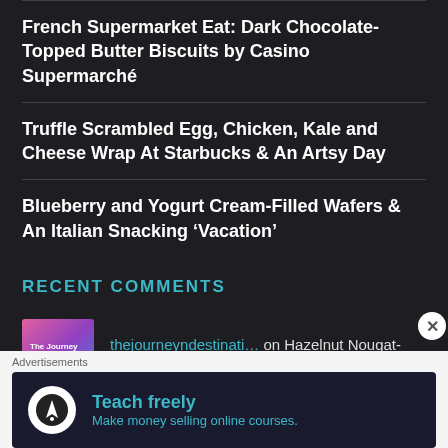French Supermarket Eat: Dark Chocolate-Topped Butter Biscuits by Casino Supermarché
Truffle Scrambled Egg, Chicken, Kale and Cheese Wrap At Starbucks & An Artsy Day
Blueberry and Yogurt Cream-Filled Wafers & An Italian Snacking 'Vacation'
RECENT COMMENTS
thejourneyndestinati… on Hazelnut Nougat-Filled Dark Ch…
Advertisements
Teach freely – Make money selling online courses.